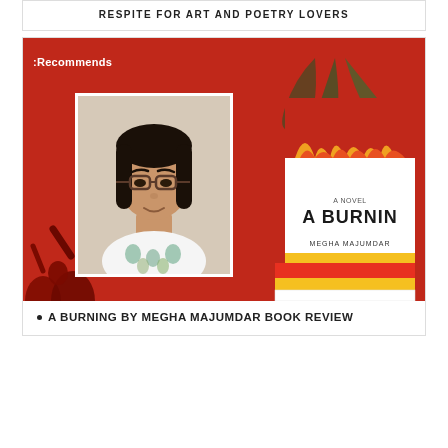RESPITE FOR ART AND POETRY LOVERS
[Figure (photo): Composite image with red background showing ':Recommends' text overlay. Left side shows a portrait photo of a South Asian woman with glasses and dark hair wearing a floral top. Right side shows a stack of books with the book 'A Burning: A Novel by Megha Majumdar' prominently displayed with red, yellow, and white cover art. Silhouette of crowd with raised arms visible in lower left.]
A BURNING BY MEGHA MAJUMDAR BOOK REVIEW